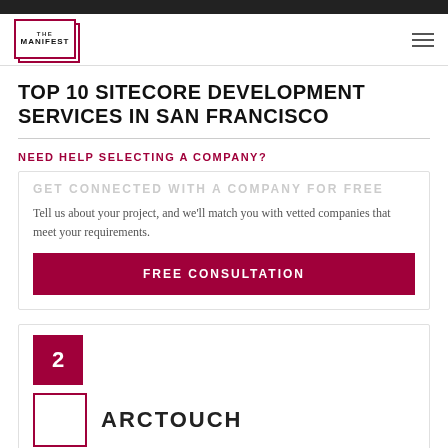THE MANIFEST
TOP 10 SITECORE DEVELOPMENT SERVICES IN SAN FRANCISCO
NEED HELP SELECTING A COMPANY?
Tell us about your project, and we'll match you with vetted companies that meet your requirements.
FREE CONSULTATION
2
ARCTOUCH